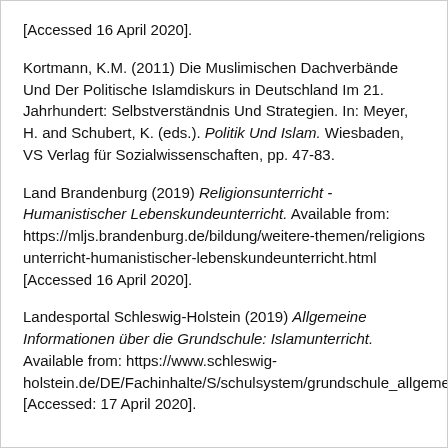[Accessed 16 April 2020].
Kortmann, K.M. (2011) Die Muslimischen Dachverbände Und Der Politische Islamdiskurs in Deutschland Im 21. Jahrhundert: Selbstverständnis Und Strategien. In: Meyer, H. and Schubert, K. (eds.). Politik Und Islam. Wiesbaden, VS Verlag für Sozialwissenschaften, pp. 47-83.
Land Brandenburg (2019) Religionsunterricht - Humanistischer Lebenskundeunterricht. Available from: https://mljs.brandenburg.de/bildung/weitere-themen/religions unterricht-humanistischer-lebenskundeunterricht.html [Accessed 16 April 2020].
Landesportal Schleswig-Holstein (2019) Allgemeine Informationen über die Grundschule: Islamunterricht. Available from: https://www.schleswig-holstein.de/DE/Fachinhalte/S/schulsystem/grundschule_allgemein.html [Accessed: 17 April 2020].